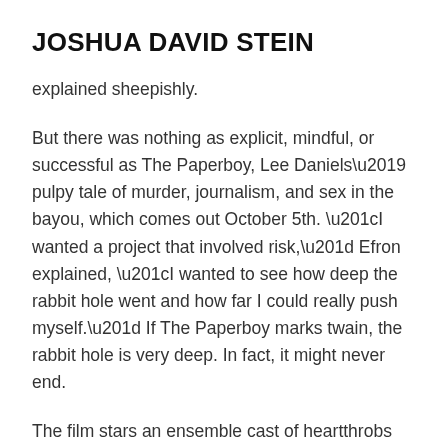JOSHUA DAVID STEIN
explained sheepishly.
But there was nothing as explicit, mindful, or successful as The Paperboy, Lee Daniels’ pulpy tale of murder, journalism, and sex in the bayou, which comes out October 5th. “I wanted a project that involved risk,” Efron explained, “I wanted to see how deep the rabbit hole went and how far I could really push myself.” If The Paperboy marks twain, the rabbit hole is very deep. In fact, it might never end.
The film stars an ensemble cast of heartthrobs emeritus, but Efron alone is still card-carrying. Daniels has brilliantly exploited the non-diegetic lives